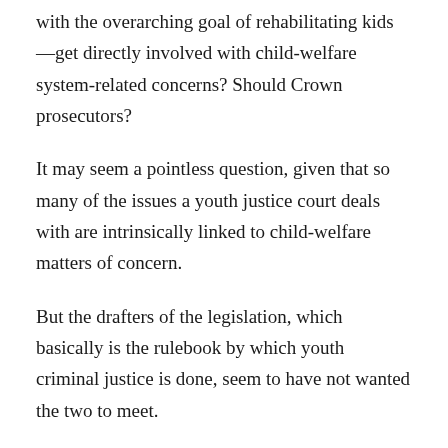with the overarching goal of rehabilitating kids —get directly involved with child-welfare system-related concerns? Should Crown prosecutors?
It may seem a pointless question, given that so many of the issues a youth justice court deals with are intrinsically linked to child-welfare matters of concern.
But the drafters of the legislation, which basically is the rulebook by which youth criminal justice is done, seem to have not wanted the two to meet.
In the 158-page YCJA, there's but two specific